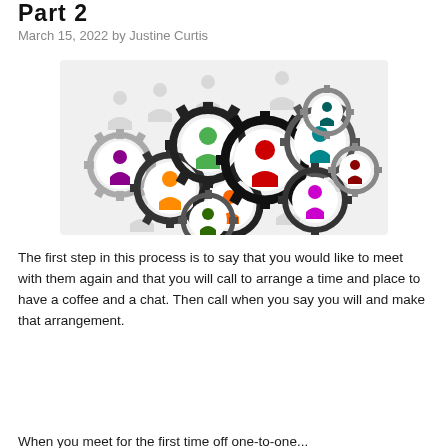Part 2
March 15, 2022 by Justine Curtis
[Figure (illustration): Illustration of interconnected gears, each containing a colorful human figure icon (green, orange, red, teal, purple, maroon, dark green, etc.), with faded human icons in the background, representing teamwork or networking.]
The first step in this process is to say that you would like to meet with them again and that you will call to arrange a time and place to have a coffee and a chat. Then call when you say you will and make that arrangement.
When you meet for the first time off one-to-one...